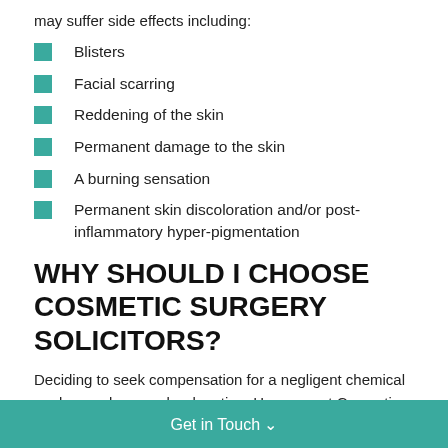may suffer side effects including:
Blisters
Facial scarring
Reddening of the skin
Permanent damage to the skin
A burning sensation
Permanent skin discoloration and/or post-inflammatory hyper-pigmentation
WHY SHOULD I CHOOSE COSMETIC SURGERY SOLICITORS?
Deciding to seek compensation for a negligent chemical peel procedure can be daunting. However, at Cosmetic Surgery Solicitors we pride ourselves on offering a genuine and
Get in Touch ˅